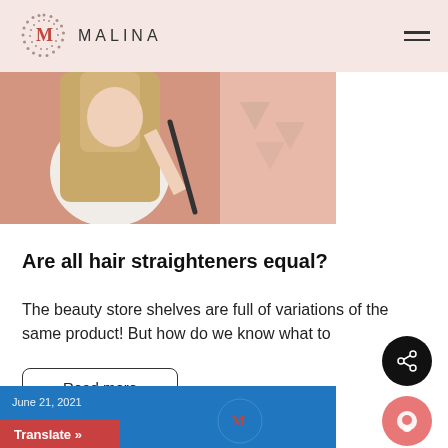[Figure (logo): Malina brand logo with dotted circular M emblem and MALINA text, on pink header background]
[Figure (photo): Woman with long straight blonde hair holding a hair straightener, on a peach/pink background with decorative triangle shapes]
Are all hair straighteners equal?
The beauty store shelves are full of variations of the same product! But how do we know what to
Read more
[Figure (photo): Bottom image strip showing blue background with date June 21, 2021, a Translate button and Malina logo]